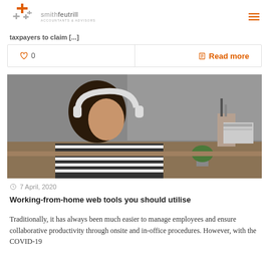smithfeutrill ACCOUNTANTS & ADVISORS
taxpayers to claim [...]
0   Read more
[Figure (photo): Young woman with white headphones working at a desk with books and stationery in the background]
7 April, 2020
Working-from-home web tools you should utilise
Traditionally, it has always been much easier to manage employees and ensure collaborative productivity through onsite and in-office procedures. However, with the COVID-19